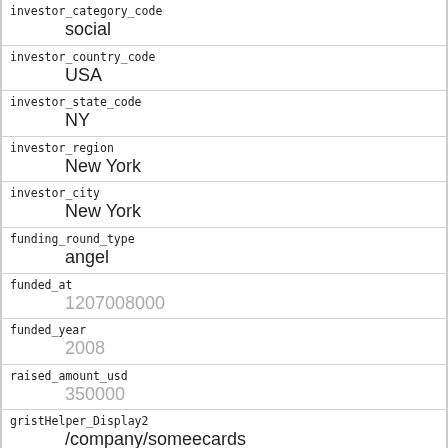investor_category_code
    social
investor_country_code
    USA
investor_state_code
    NY
investor_region
    New York
investor_city
    New York
funding_round_type
    angel
funded_at
    1207008000
funded_year
    2008
raised_amount_usd
    350000
gristHelper_Display2
    /company/someecards